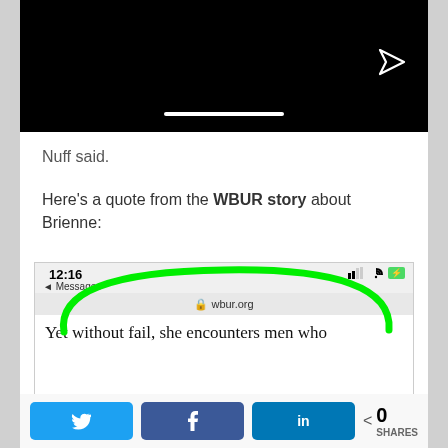[Figure (screenshot): Black video player with send/share icon and white progress bar at bottom]
Nuff said.
Here's a quote from the WBUR story about Brienne:
[Figure (screenshot): Mobile screenshot of wbur.org article with green oval annotation highlighting the address bar and beginning of quote text: 'Yet without fail, she encounters men who']